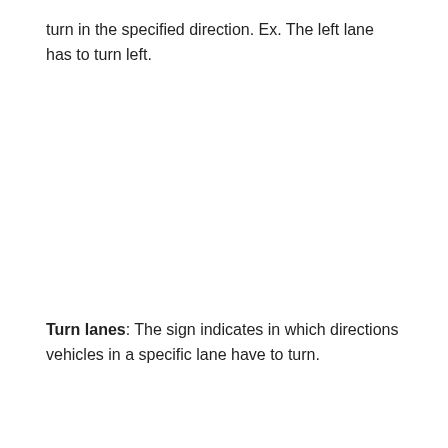turn in the specified direction. Ex. The left lane has to turn left.
Turn lanes: The sign indicates in which directions vehicles in a specific lane have to turn.